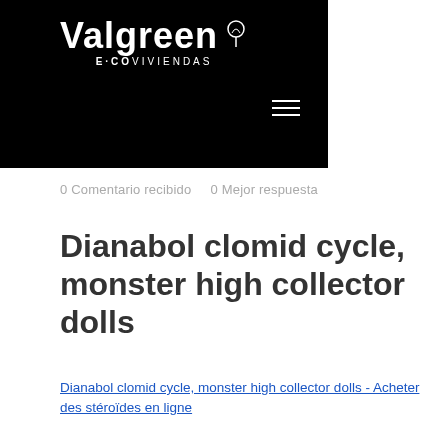[Figure (logo): Valgreen E-COVIVIENDAS logo on black background with tree icon]
0 Comentario recibido   0 Mejor respuesta
Dianabol clomid cycle, monster high collector dolls
Dianabol clomid cycle, monster high collector dolls - Acheter des stéroïdes en ligne
[Figure (photo): Blurred dark photo, indistinct content]